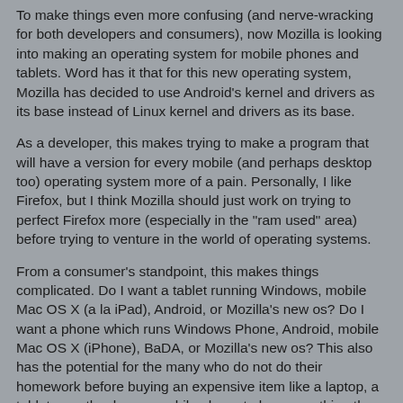To make things even more confusing (and nerve-wracking for both developers and consumers), now Mozilla is looking into making an operating system for mobile phones and tablets. Word has it that for this new operating system, Mozilla has decided to use Android's kernel and drivers as its base instead of Linux kernel and drivers as its base.
As a developer, this makes trying to make a program that will have a version for every mobile (and perhaps desktop too) operating system more of a pain. Personally, I like Firefox, but I think Mozilla should just work on trying to perfect Firefox more (especially in the "ram used" area) before trying to venture in the world of operating systems.
From a consumer's standpoint, this makes things complicated. Do I want a tablet running Windows, mobile Mac OS X (a la iPad), Android, or Mozilla's new os? Do I want a phone which runs Windows Phone, Android, mobile Mac OS X (iPhone), BaDA, or Mozilla's new os? This also has the potential for the many who do not do their homework before buying an expensive item like a laptop, a tablet or netbook, or a mobile phone to buy something they doesn't fit